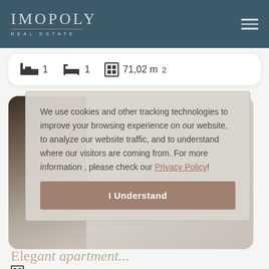IMOPOLY REAL ESTATE
1  1  71,02 m²
We use cookies and other tracking technologies to improve your browsing experience on our website, to analyze our website traffic, and to understand where our visitors are coming from. For more information , please check our Privacy Policy!
I Understand
Elegant apartment...